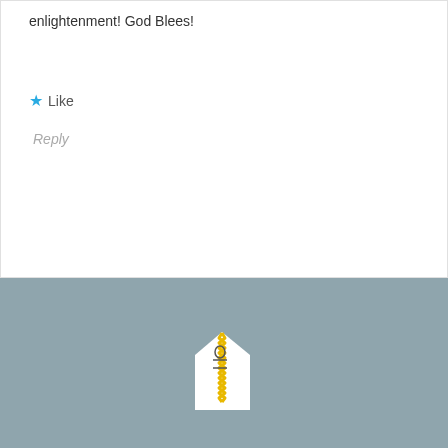enlightenment! God Blees!
★ Like
Reply
[Figure (illustration): An envelope-shaped icon with yellow zigzag border on a blue-gray background]
[Figure (infographic): Diagonal stripe border banner with blue and brown stripes, like an airmail envelope]
Leave a Reply
Advertisements
Getting your team on the same page is easy. And free.